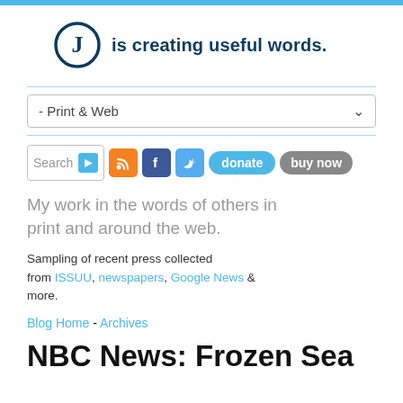[Figure (logo): Circular logo with letter J inside, dark navy blue, next to the text 'is creating useful words.']
- Print & Web (dropdown)
[Figure (screenshot): Toolbar with search box, RSS icon, Facebook icon, Twitter icon, donate button, buy now button]
My work in the words of others in print and around the web.
Sampling of recent press collected from ISSUU, newspapers, Google News & more.
Blog Home - Archives
NBC News: Frozen Sea